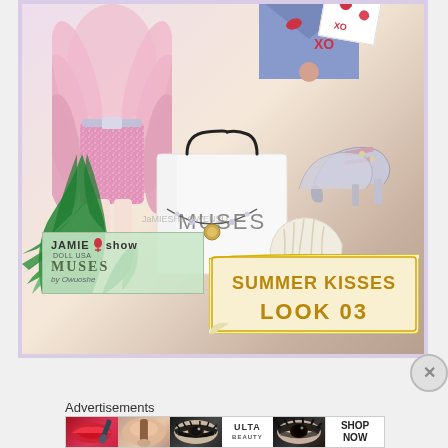[Figure (illustration): Fashion collage showing a pink feathered glittery mini dress outfit, tropical palm leaves, a white shopping bag labeled MUSES, a seashell, silver high heel shoes, a blue envelope with lip prints and XO, a necklace, and overlaid branding for 'JAMIE show DOLL USA MUSES by Owuoshe' with 'SUMMER KISSES LOOK 03' text on a gold banner. The background is lavender/light purple.]
[Figure (illustration): Close X button circle overlay in the bottom right of the main image.]
Advertisements
[Figure (photo): Advertisements strip showing: red lips with makeup brush, woman with powder brush, eye makeup close-up, ULTA Beauty logo, smoky eye close-up, and SHOP NOW text on white background.]